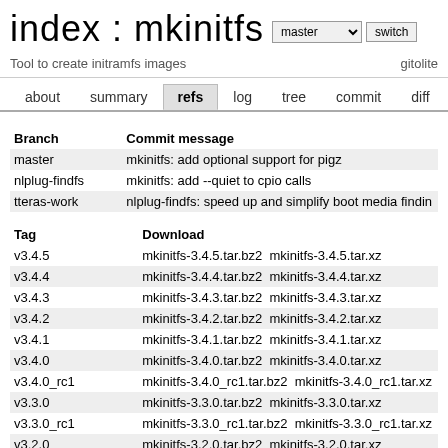index : mkinitfs
Tool to create initramfs images    gitolite
about  summary  refs  log  tree  commit  diff  stat
| Branch | Commit message |
| --- | --- |
| master | mkinitfs: add optional support for pigz |
| nlplug-findfs | mkinitfs: add --quiet to cpio calls |
| tteras-work | nlplug-findfs: speed up and simplify boot media findin |
| Tag | Download |
| --- | --- |
| v3.4.5 | mkinitfs-3.4.5.tar.bz2  mkinitfs-3.4.5.tar.xz |
| v3.4.4 | mkinitfs-3.4.4.tar.bz2  mkinitfs-3.4.4.tar.xz |
| v3.4.3 | mkinitfs-3.4.3.tar.bz2  mkinitfs-3.4.3.tar.xz |
| v3.4.2 | mkinitfs-3.4.2.tar.bz2  mkinitfs-3.4.2.tar.xz |
| v3.4.1 | mkinitfs-3.4.1.tar.bz2  mkinitfs-3.4.1.tar.xz |
| v3.4.0 | mkinitfs-3.4.0.tar.bz2  mkinitfs-3.4.0.tar.xz |
| v3.4.0_rc1 | mkinitfs-3.4.0_rc1.tar.bz2  mkinitfs-3.4.0_rc1.tar.xz |
| v3.3.0 | mkinitfs-3.3.0.tar.bz2  mkinitfs-3.3.0.tar.xz |
| v3.3.0_rc1 | mkinitfs-3.3.0_rc1.tar.bz2  mkinitfs-3.3.0_rc1.tar.xz |
| v3.2.0 | mkinitfs-3.2.0.tar.bz2  mkinitfs-3.2.0.tar.xz |
| v3.1.0 | mkinitfs-3.1.0.tar.bz2  mkinitfs-3.1.0.tar.xz |